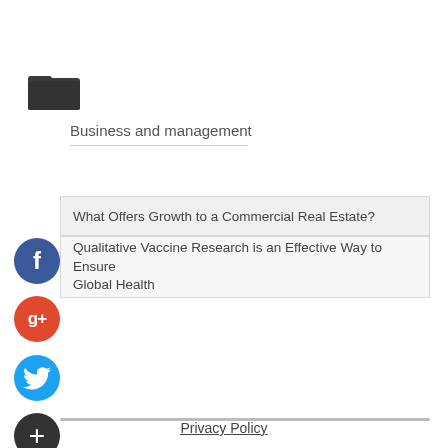[Figure (illustration): Dark folder icon (open folder)]
Business and management
What Offers Growth to a Commercial Real Estate?
Qualitative Vaccine Research is an Effective Way to Ensure Global Health
[Figure (illustration): Facebook social share button (blue circle with white f)]
[Figure (illustration): Google+ social share button (red circle with white g+)]
[Figure (illustration): Twitter social share button (blue circle with white bird)]
[Figure (illustration): Add/plus social share button (dark circle with white +)]
Privacy Policy